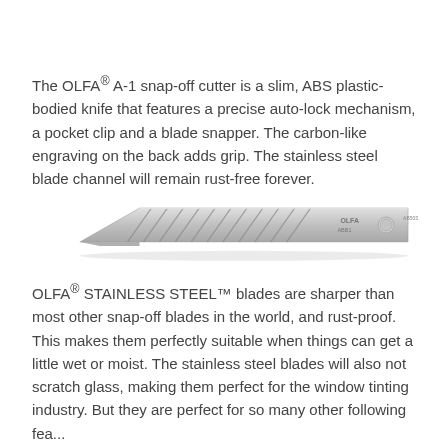The OLFA® A-1 snap-off cutter is a slim, ABS plastic-bodied knife that features a precise auto-lock mechanism, a pocket clip and a blade snapper. The carbon-like engraving on the back adds grip. The stainless steel blade channel will remain rust-free forever.
[Figure (photo): OLFA snap-off blade — a long narrow metallic blade with diagonal snap-off score lines, OLFA branding and a circular hole near the right end, photographed against a white background.]
OLFA® STAINLESS STEEL™ blades are sharper than most other snap-off blades in the world, and rust-proof. This makes them perfectly suitable when things can get a little wet or moist. The stainless steel blades will also not scratch glass, making them perfect for the window tinting industry. But they are perfect for so many other following fea...